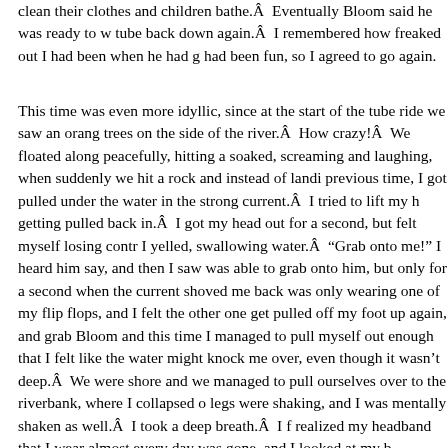clean their clothes and children bathe.Â  Eventually Bloom said he was ready to w tube back down again.Â  I remembered how freaked out I had been when he had g had been fun, so I agreed to go again.
This time was even more idyllic, since at the start of the tube ride we saw an orang trees on the side of the river.Â  How crazy!Â  We floated along peacefully, hitting a soaked, screaming and laughing, when suddenly we hit a rock and instead of landi previous time, I got pulled under the water in the strong current.Â  I tried to lift my h getting pulled back in.Â  I got my head out for a second, but felt myself losing contr I yelled, swallowing water.Â  “Grab onto me!” I heard him say, and then I saw was able to grab onto him, but only for a second when the current shoved me back was only wearing one of my flip flops, and I felt the other one get pulled off my foot up again, and grab Bloom and this time I managed to pull myself out enough that I felt like the water might knock me over, even though it wasn’t deep.Â  We were shore and we managed to pull ourselves over to the riverbank, where I collapsed o legs were shaking, and I was mentally shaken as well.Â  I took a deep breath.Â  I f realized my headband that I wear almost every day was gone, and I looked at my b
We looked down the river and saw that around 50 feet ahead, the water was comp wondered what would have happened to me if I wouldn’t have been able to gra Would I have just been dragged along to the calm section?Â  Did I hurt myself by t water instead of letting it pull me along?Â  Ahhhh…what a clichéd metaphor!Â  If and fight, I would float gently by…Â  Gross.
I was terrified, and I was just thankful to be alive, but maybe it wasn’t actually t